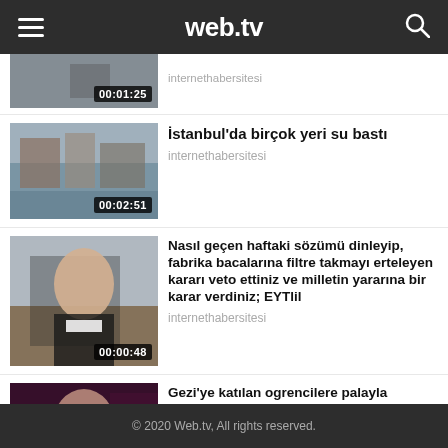web.tv
[Figure (screenshot): Partial video thumbnail with duration 00:01:25]
internethabersitesi
[Figure (screenshot): Street scene with rain, duration 00:02:51]
İstanbul'da birçok yeri su bastı
internethabersitesi
[Figure (screenshot): Speaker at podium, duration 00:00:48]
Nasıl geçen haftaki sözümü dinleyip, fabrika bacalarına filtre takmayı erteleyen kararı veto ettiniz ve milletin yararına bir karar verdiniz; EYTlil
internethabersitesi
[Figure (screenshot): Woman in red/dark scene, duration 00:00:57]
Gezi'ye katılan ogrencilere palayla saldıran yandaşların örnek esnafı Dubai gecelerinden çıktı
internethabersitesi
© 2020 Web.tv, All rights reserved.